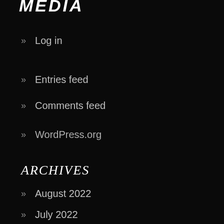MEDIA
Log in
Entries feed
Comments feed
WordPress.org
ARCHIVES
August 2022
July 2022
June 2022